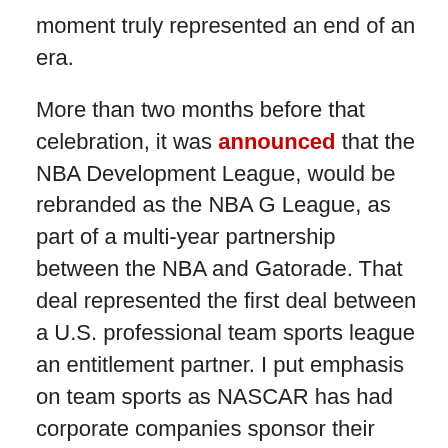moment truly represented an end of an era.

More than two months before that celebration, it was announced that the NBA Development League, would be rebranded as the NBA G League, as part of a multi-year partnership between the NBA and Gatorade. That deal represented the first deal between a U.S. professional team sports league an entitlement partner. I put emphasis on team sports as NASCAR has had corporate companies sponsor their various series for decades. Along with having Gatorade branding on game balls, on-court signage a, and team jerseys, the partnership also brought an opportunity for teams to utilize the Gatorade Sports Science Institute for programs to enhance the player's performance and recovery.